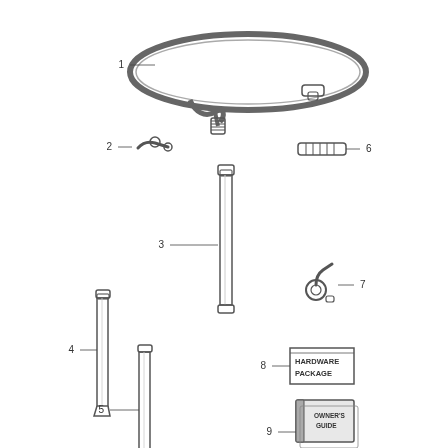[Figure (engineering-diagram): Parts diagram showing 9 numbered components: 1) coiled hose with connector, 2) elbow connector fitting, 3) long straight wand/pipe, 4) medium wand section, 5) long wand section, 6) straight connector fitting, 7) angled elbow fitting, 8) hardware package box, 9) owner's guide booklet]